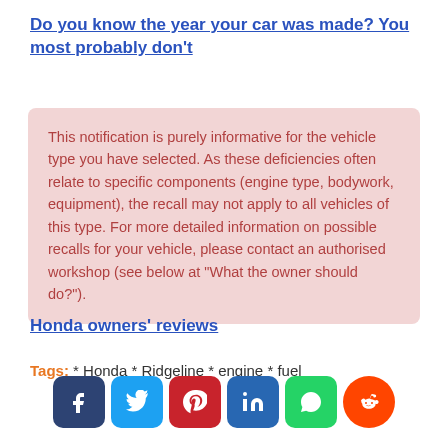Do you know the year your car was made? You most probably don't
This notification is purely informative for the vehicle type you have selected. As these deficiencies often relate to specific components (engine type, bodywork, equipment), the recall may not apply to all vehicles of this type. For more detailed information on possible recalls for your vehicle, please contact an authorised workshop (see below at "What the owner should do?").
Honda owners' reviews
Tags: * Honda * Ridgeline * engine * fuel
[Figure (other): Social media share buttons: Facebook, Twitter, Pinterest, LinkedIn, WhatsApp, Reddit]